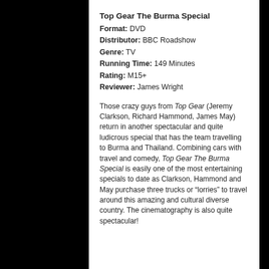Top Gear The Burma Special
Format: DVD
Distributor: BBC Roadshow
Genre: TV
Running Time: 149 Minutes
Rating: M15+
Reviewer: James Wright
Those crazy guys from Top Gear (Jeremy Clarkson, Richard Hammond, James May) return in another spectacular and quite ludicrous special that has the team travelling to Burma and Thailand. Combining cars with travel and comedy, Top Gear The Burma Special is easily one of the most entertaining specials to date as Clarkson, Hammond and May purchase three trucks or “lorries” to travel around this amazing and cultural diverse country. The cinematography is also quite spectacular!